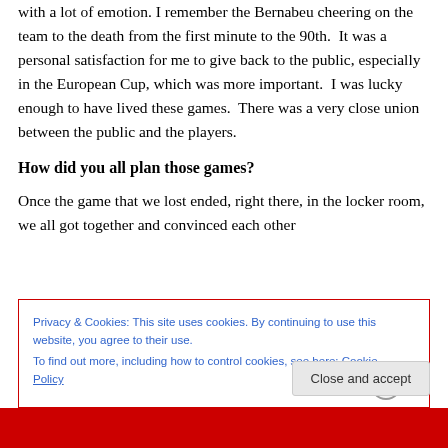with a lot of emotion. I remember the Bernabeu cheering on the team to the death from the first minute to the 90th. It was a personal satisfaction for me to give back to the public, especially in the European Cup, which was more important. I was lucky enough to have lived these games. There was a very close union between the public and the players.
How did you all plan those games?
Once the game that we lost ended, right there, in the locker room, we all got together and convinced each other
Privacy & Cookies: This site uses cookies. By continuing to use this website, you agree to their use.
To find out more, including how to control cookies, see here: Cookie Policy
Close and accept